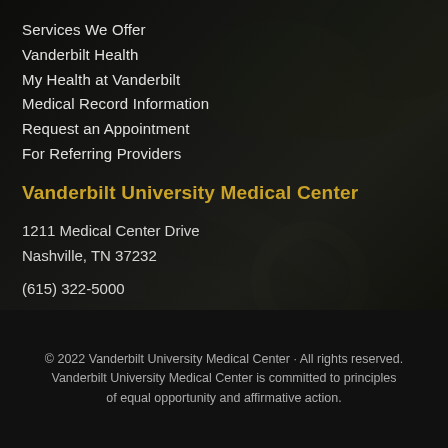[Figure (photo): Dark aerial/overhead photo of Vanderbilt University Medical Center campus with trees and roadway, overlaid with dark translucent overlay]
Services We Offer
Vanderbilt Health
My Health at Vanderbilt
Medical Record Information
Request an Appointment
For Referring Providers
Vanderbilt University Medical Center
1211 Medical Center Drive
Nashville, TN 37232
(615) 322-5000
© 2022 Vanderbilt University Medical Center · All rights reserved.
Vanderbilt University Medical Center is committed to principles of equal opportunity and affirmative action.